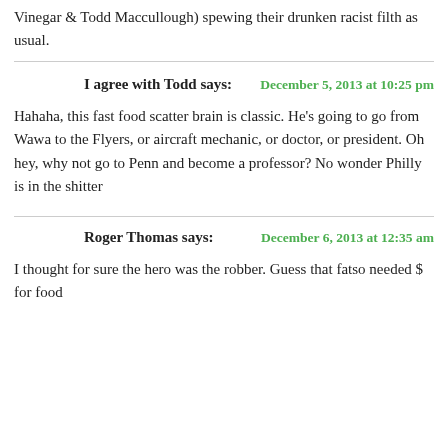Vinegar & Todd Maccullough) spewing their drunken racist filth as usual.
I agree with Todd says:
Hahaha, this fast food scatter brain is classic. He's going to go from Wawa to the Flyers, or aircraft mechanic, or doctor, or president. Oh hey, why not go to Penn and become a professor? No wonder Philly is in the shitter
Roger Thomas says:
I thought for sure the hero was the robber. Guess that fatso needed $ for food